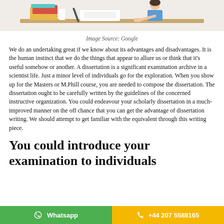[Figure (illustration): Illustration of a person studying at a desk with books and papers]
Image Source: Google
We do an undertaking great if we know about its advantages and disadvantages. It is the human instinct that we do the things that appear to allure us or think that it's useful somehow or another. A dissertation is a significant examination archive in a scientist life. Just a minor level of individuals go for the exploration. When you show up for the Masters or M.Phill course, you are needed to compose the dissertation. The dissertation ought to be carefully written by the guidelines of the concerned instructive organization. You could endeavour your scholarly dissertation in a much-improved manner on the off chance that you can get the advantage of dissertation writing. We should attempt to get familiar with the equivalent through this writing piece.
You could introduce your examination to individuals
Whatsapp   +44 207 5588165